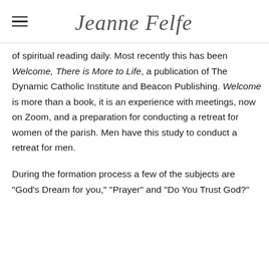Jeanne Felfe
of spiritual reading daily. Most recently this has been Welcome, There is More to Life, a publication of The Dynamic Catholic Institute and Beacon Publishing. Welcome is more than a book, it is an experience with meetings, now on Zoom, and a preparation for conducting a retreat for women of the parish. Men have this study to conduct a retreat for men.
During the formation process a few of the subjects are "God's Dream for you," "Prayer" and "Do You Trust God?"